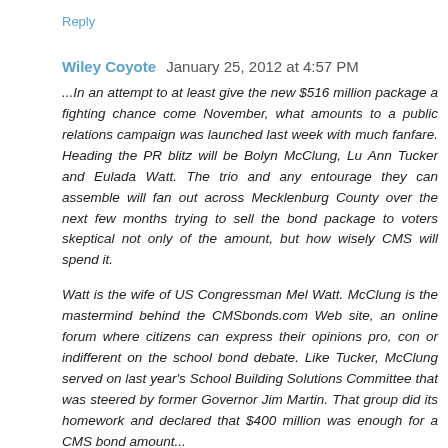Reply
Wiley Coyote  January 25, 2012 at 4:57 PM
...In an attempt to at least give the new $516 million package a fighting chance come November, what amounts to a public relations campaign was launched last week with much fanfare. Heading the PR blitz will be Bolyn McClung, Lu Ann Tucker and Eulada Watt. The trio and any entourage they can assemble will fan out across Mecklenburg County over the next few months trying to sell the bond package to voters skeptical not only of the amount, but how wisely CMS will spend it.
Watt is the wife of US Congressman Mel Watt. McClung is the mastermind behind the CMSbonds.com Web site, an online forum where citizens can express their opinions pro, con or indifferent on the school bond debate. Like Tucker, McClung served on last year's School Building Solutions Committee that was steered by former Governor Jim Martin. That group did its homework and declared that $400 million was enough for a CMS bond amount...